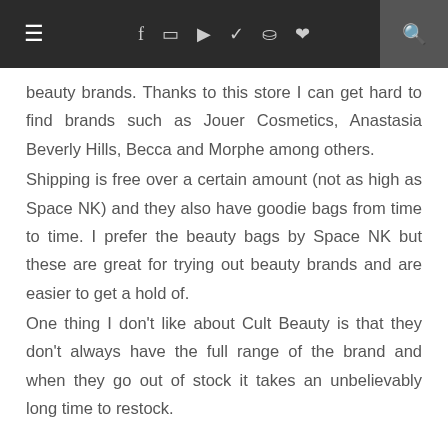≡  f  IG  ▶  🐦  P  ♥  🔍
beauty brands. Thanks to this store I can get hard to find brands such as Jouer Cosmetics, Anastasia Beverly Hills, Becca and Morphe among others.
Shipping is free over a certain amount (not as high as Space NK) and they also have goodie bags from time to time. I prefer the beauty bags by Space NK but these are great for trying out beauty brands and are easier to get a hold of.
One thing I don't like about Cult Beauty is that they don't always have the full range of the brand and when they go out of stock it takes an unbelievably long time to restock.